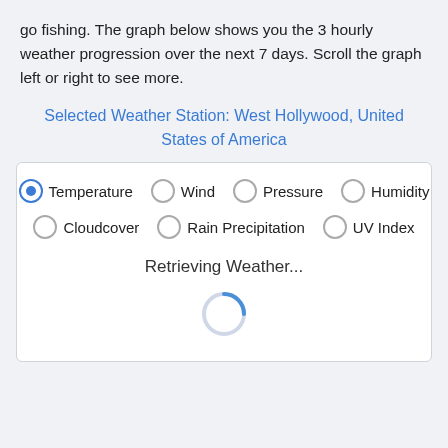go fishing. The graph below shows you the 3 hourly weather progression over the next 7 days. Scroll the graph left or right to see more.
Selected Weather Station: West Hollywood, United States of America
[Figure (screenshot): Widget panel with radio buttons for weather data type selection (Temperature selected) and a loading spinner with 'Retrieving Weather...' text]